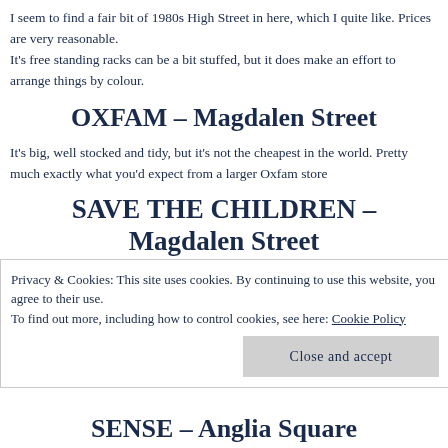I seem to find a fair bit of 1980s High Street in here, which I quite like. Prices are very reasonable.
It's free standing racks can be a bit stuffed, but it does make an effort to arrange things by colour.
OXFAM – Magdalen Street
It's big, well stocked and tidy, but it's not the cheapest in the world. Pretty much exactly what you'd expect from a larger Oxfam store
SAVE THE CHILDREN – Magdalen Street
So far this shop has escaped the Mary Portas treatment and is actually one of my favourites. It's small, but has resisted the urge to fill every area of it's limited floor space with free standing
Privacy & Cookies: This site uses cookies. By continuing to use this website, you agree to their use.
To find out more, including how to control cookies, see here: Cookie Policy
Close and accept
SENSE – Anglia Square